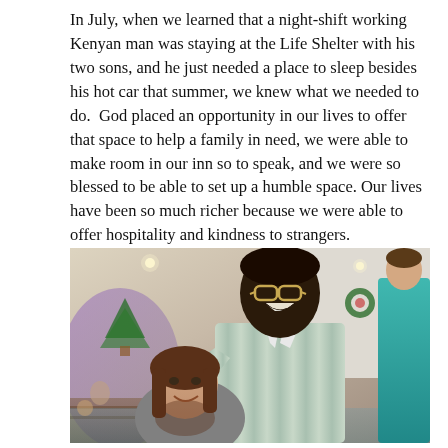In July, when we learned that a night-shift working Kenyan man was staying at the Life Shelter with his two sons, and he just needed a place to sleep besides his hot car that summer, we knew what we needed to do.  God placed an opportunity in our lives to offer that space to help a family in need, we were able to make room in our inn so to speak, and we were so blessed to be able to set up a humble space. Our lives have been so much richer because we were able to offer hospitality and kindness to strangers.
[Figure (photo): A smiling tall Black man wearing glasses and a striped shirt hugs a shorter white woman with brown hair. They are standing in what appears to be a church interior with pews, Christmas decorations, and lights visible in the background. A person in a teal jacket is partially visible on the right.]